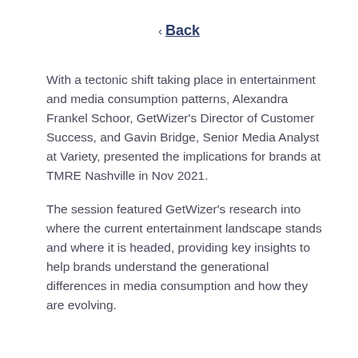‹ Back
With a tectonic shift taking place in entertainment and media consumption patterns, Alexandra Frankel Schoor, GetWizer's Director of Customer Success, and Gavin Bridge, Senior Media Analyst at Variety, presented the implications for brands at TMRE Nashville in Nov 2021.
The session featured GetWizer's research into where the current entertainment landscape stands and where it is headed, providing key insights to help brands understand the generational differences in media consumption and how they are evolving.